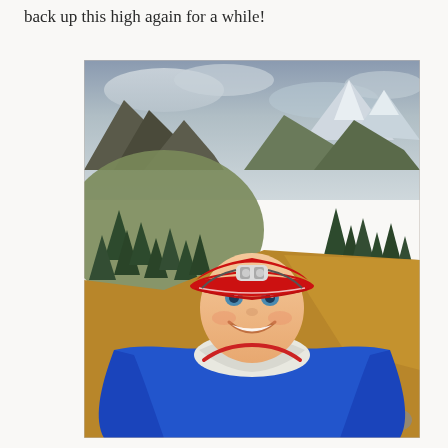back up this high again for a while!
[Figure (photo): A smiling woman wearing a red baseball cap with a headlamp attached, a blue long-sleeve shirt, white neck gaiter, and red running pack. She is taking a selfie on a mountain trail. Behind her is a dirt trail leading up a grassy/rocky hillside with pine trees, rocky mountain peaks, and a partly cloudy sky in the background.]